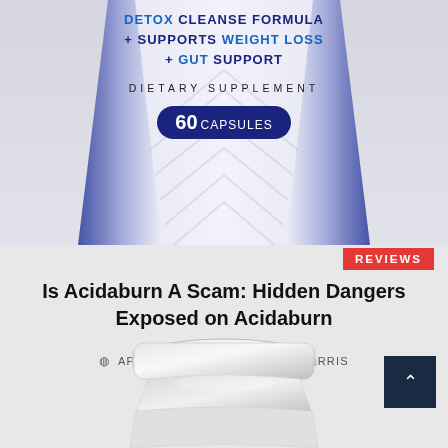[Figure (photo): Dietary supplement bottle (top portion) showing 'DETOX CLEANSE FORMULA + SUPPORTS WEIGHT LOSS + GUT SUPPORT', 'DIETARY SUPPLEMENT', '60 CAPSULES' badge, with dark blue and white design and chevron pattern]
REVIEWS
Is Acidaburn A Scam: Hidden Dangers Exposed on Acidaburn
APRIL 20, 2022   DORA HARRIS
[Figure (photo): White dietary supplement bottle (bottom portion, showing cap and upper shoulder of bottle)]